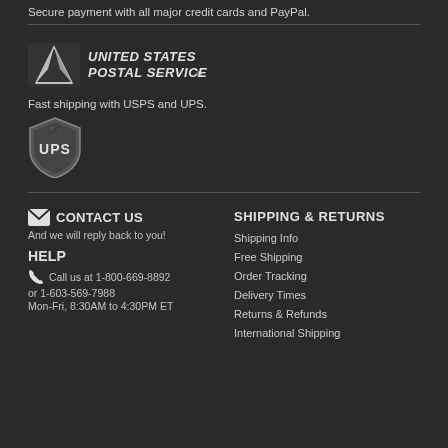Secure payment with all major credit cards and PayPal.
[Figure (logo): United States Postal Service (USPS) logo with eagle icon and bold text]
Fast shipping with USPS and UPS.
[Figure (logo): UPS shield logo with UPS text]
CONTACT US
And we will reply back to you!
HELP
Call us at 1-800-669-8892
or 1-603-569-7988
Mon-Fri, 8:30AM to 4:30PM ET
SHIPPING & RETURNS
Shipping Info
Free Shipping
Order Tracking
Delivery Times
Returns & Refunds
International Shipping